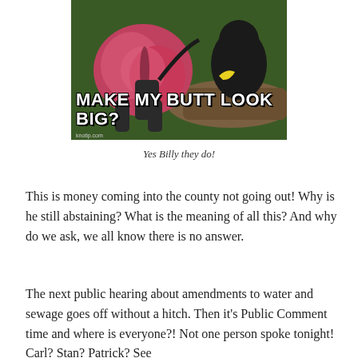[Figure (photo): A meme photo of a monkey with a swollen red posterior, with another monkey eating a banana in the background. White bold text overlaid reads 'MAKE MY BUTT LOOK BIG?' with a watermark 'knotip.com' at bottom left.]
Yes Billy they do!
This is money coming into the county not going out! Why is he still abstaining? What is the meaning of all this? And why do we ask, we all know there is no answer.
The next public hearing about amendments to water and sewage goes off without a hitch. Then it’s Public Comment time and where is everyone?! Not one person spoke tonight! Carl? Stan? Patrick? See